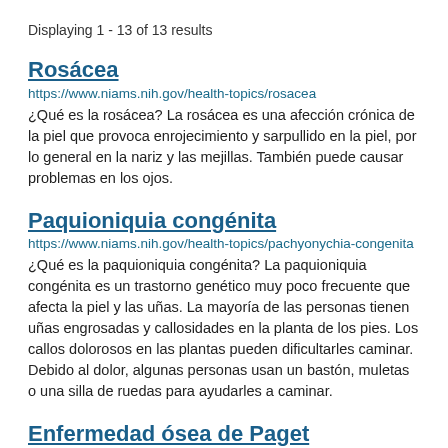Displaying 1 - 13 of 13 results
Rosácea
https://www.niams.nih.gov/health-topics/rosacea
¿Qué es la rosácea? La rosácea es una afección crónica de la piel que provoca enrojecimiento y sarpullido en la piel, por lo general en la nariz y las mejillas. También puede causar problemas en los ojos.
Paquioniquia congénita
https://www.niams.nih.gov/health-topics/pachyonychia-congenita
¿Qué es la paquioniquia congénita? La paquioniquia congénita es un trastorno genético muy poco frecuente que afecta la piel y las uñas. La mayoría de las personas tienen uñas engrosadas y callosidades en la planta de los pies. Los callos dolorosos en las plantas pueden dificultarles caminar. Debido al dolor, algunas personas usan un bastón, muletas o una silla de ruedas para ayudarles a caminar.
Enfermedad ósea de Paget
https://www.niams.nih.gov/health-topics/pagets-disease-bone
¿Qué es la enfermedad de Paget? La enfermedad ósea de Paget es un trastorno crónico (de larga duración) que hace que los huesos